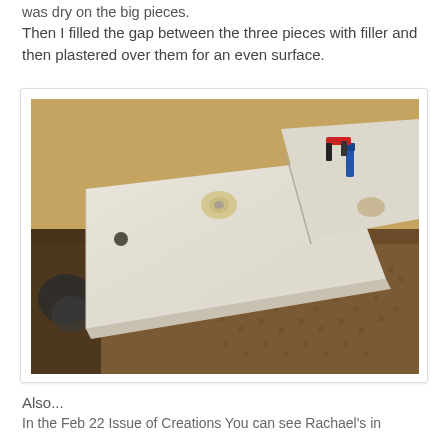was dry on the big pieces.
Then I filled the gap between the three pieces with filler and then plastered over them for an even surface.
[Figure (photo): Photo of large white flat board panels laid on a textured brown carpet/mat surface. The boards appear to be MDF or similar sheet material assembled together in an L or T shape. Various tools and supplies (clamps, glue bottle, tape roll) are visible on top of the boards. Background shows a tan/golden wall. Power tools or cables visible on the left side.]
Also...
In the Feb 22 Issue of Creations You can see Rachael's in